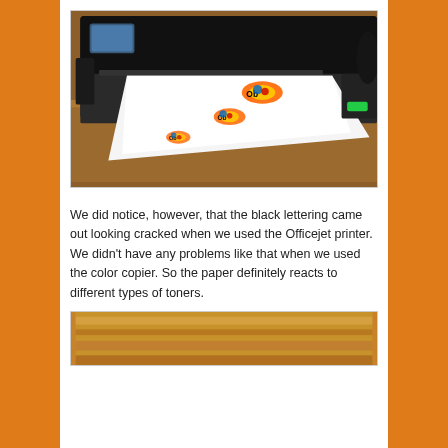[Figure (photo): A color inkjet printer (dark/black body) printing a sheet of paper with colorful printed designs/logos at various sizes, placed on a wooden surface.]
We did notice, however, that the black lettering came out looking cracked when we used the Officejet printer. We didn't have any problems like that when we used the color copier. So the paper definitely reacts to different types of toners.
[Figure (photo): A partial view of a printed sheet showing a brownish/tan background — likely showing the paper or a printed result.]